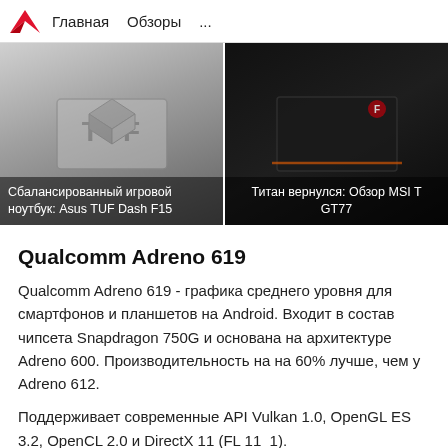Главная  Обзоры  ...
[Figure (photo): Two laptop review cards side by side: left shows ASUS TUF laptop with gray TUF logo on lid; right shows MSI GT77 laptop in black with red MSI logo. Left card caption: Сбалансированный игровой ноутбук: Asus TUF Dash F15. Right card caption: Титан вернулся: Обзор MSI T GT77.]
Qualcomm Adreno 619
Qualcomm Adreno 619 - графика среднего уровня для смартфонов и планшетов на Android. Входит в состав чипсета Snapdragon 750G и основана на архитектуре Adreno 600. Производительность на на 60% лучше, чем у Adreno 612.
Поддерживает современные API Vulkan 1.0, OpenGL ES 3.2, OpenCL 2.0 и DirectX 11 (FL 11_1).